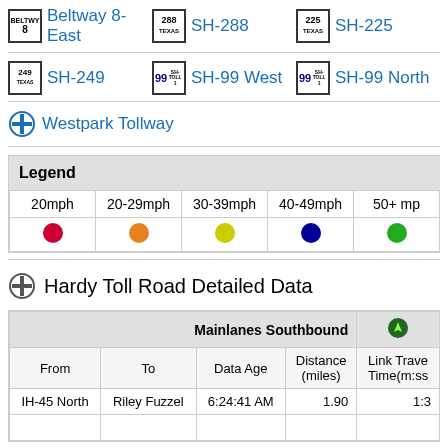Beltway 8-East
SH-288
SH-225
SH-249
SH-99 West
SH-99 North
Westpark Tollway
| Legend |  |  |  |  |
| --- | --- | --- | --- | --- |
| 20mph | 20-29mph | 30-39mph | 40-49mph | 50+ mp |
| red dot | orange dot | yellow dot | blue dot | green dot |
Hardy Toll Road Detailed Data
| From | To | Data Age | Distance (miles) | Link Trave Time(m:ss |
| --- | --- | --- | --- | --- |
| IH-45 North | Riley Fuzzel | 6:24:41 AM | 1.90 | 1:3 |